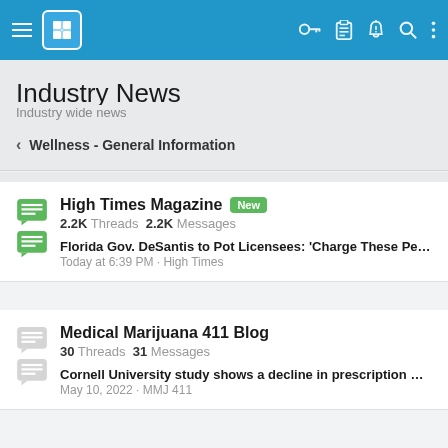Industry News app navigation bar
Industry News
Industry wide news
< Wellness - General Information
High Times Magazine [New] | 2.2K Threads 2.2K Messages | Florida Gov. DeSantis to Pot Licensees: 'Charge These People Mo... | Today at 6:39 PM · High Times
Medical Marijuana 411 Blog | 30 Threads 31 Messages | Cornell University study shows a decline in prescription medicine... | May 10, 2022 · MMJ 411